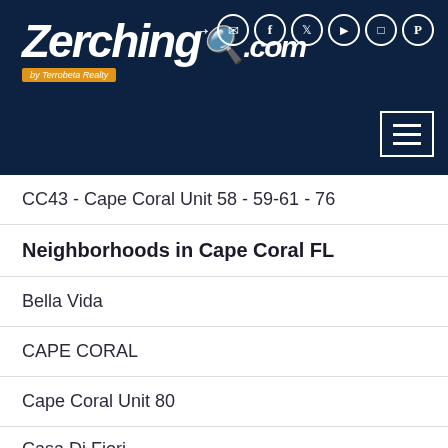[Figure (logo): Zerching.com by Terrobeta Realty logo on dark navy header with social media icons and hamburger menu]
CC43 - Cape Coral Unit 58 - 59-61 - 76
Neighborhoods in Cape Coral FL
Bella Vida
CAPE CORAL
Cape Coral Unit 80
Casa Di Fiori
Gator Circle